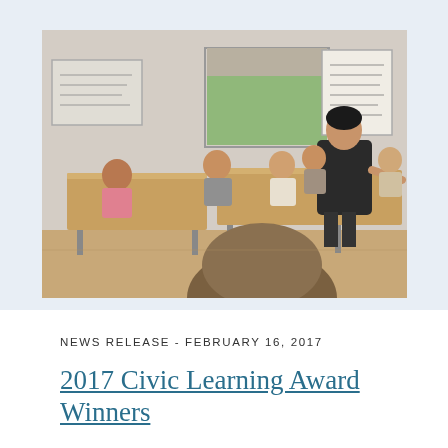[Figure (photo): A classroom scene showing a woman standing at the front presenting to a group of seated women. Whiteboards and flip chart paper with notes are visible on the walls. Large windows let in natural light. A person in the foreground has their back to the camera.]
NEWS RELEASE - FEBRUARY 16, 2017
2017 Civic Learning Award Winners